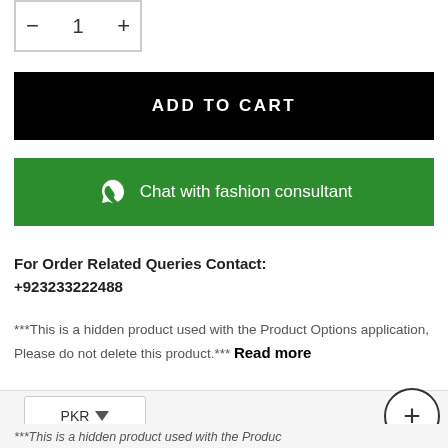[Figure (other): Quantity selector box with minus, 1, plus controls]
ADD TO CART
[Figure (other): WhatsApp chat button: Chat with fashion consultant]
For Order Related Queries Contact:
+923233222488
***This is a hidden product used with the Product Options application, Please do not delete this product.*** Read more
Description
***This is a hidden product used with the Produc...